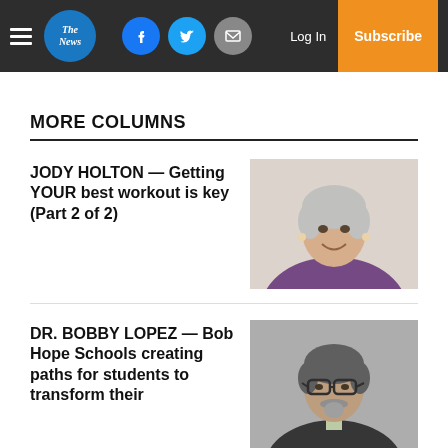The News — Log In | Subscribe
MORE COLUMNS
JODY HOLTON — Getting YOUR best workout is key (Part 2 of 2)
[Figure (photo): Photo of Jody Holton, a woman with short gray hair, smiling, wearing a purple top]
DR. BOBBY LOPEZ — Bob Hope Schools creating paths for students to transform their
[Figure (photo): Photo of Dr. Bobby Lopez, a man with gray beard and dark-rimmed glasses, wearing a dark jacket]